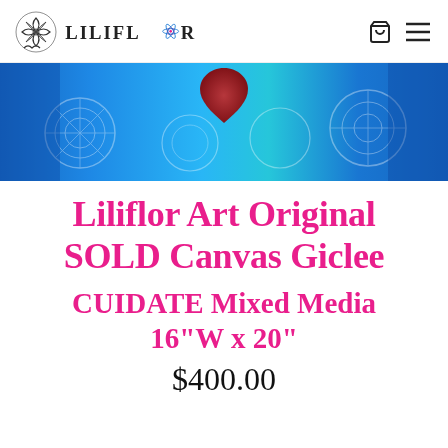LILIFLOR (logo with navigation icons: cart, menu)
[Figure (photo): Cropped artwork photo showing blue and teal abstract canvas with a dark red/maroon heart-like shape at the top center, with white mandala/floral patterns on blue background]
Liliflor Art Original SOLD Canvas Giclee
CUIDATE Mixed Media 16"W x 20"
$400.00